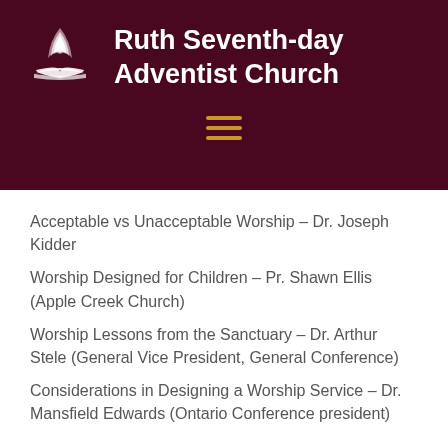Ruth Seventh-day Adventist Church
Acceptable vs Unacceptable Worship – Dr. Joseph Kidder
Worship Designed for Children – Pr. Shawn Ellis (Apple Creek Church)
Worship Lessons from the Sanctuary – Dr. Arthur Stele (General Vice President, General Conference)
Considerations in Designing a Worship Service – Dr. Mansfield Edwards (Ontario Conference president)